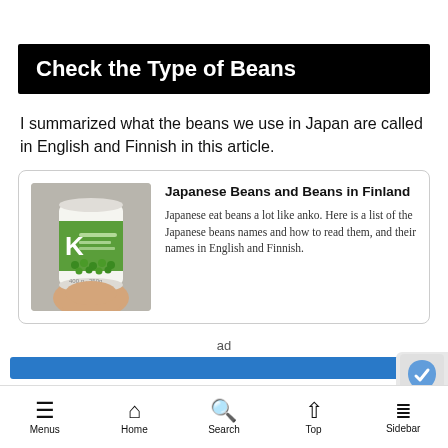Check the Type of Beans
I summarized what the beans we use in Japan are called in English and Finnish in this article.
[Figure (other): Card with image of a hand holding a can of green peas (K brand), with title 'Japanese Beans and Beans in Finland' and description text.]
ad
Menus   Home   Search   Top   Sidebar